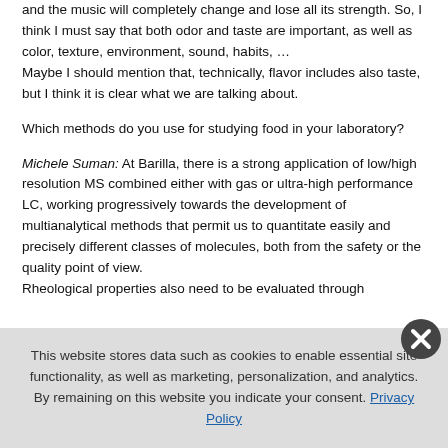and the music will completely change and lose all its strength. So, I think I must say that both odor and taste are important, as well as color, texture, environment, sound, habits, …
Maybe I should mention that, technically, flavor includes also taste, but I think it is clear what we are talking about.
Which methods do you use for studying food in your laboratory?
Michele Suman: At Barilla, there is a strong application of low/high resolution MS combined either with gas or ultra-high performance LC, working progressively towards the development of multianalytical methods that permit us to quantitate easily and precisely different classes of molecules, both from the safety or the quality point of view.
Rheological properties also need to be evaluated through
This website stores data such as cookies to enable essential site functionality, as well as marketing, personalization, and analytics. By remaining on this website you indicate your consent. Privacy Policy